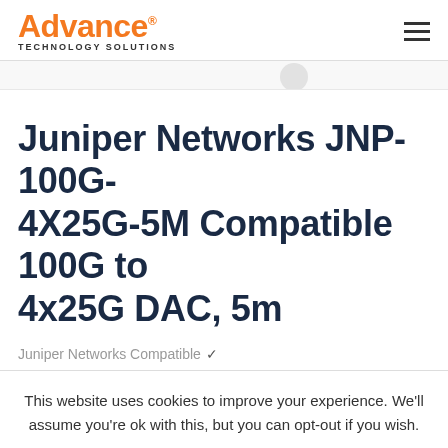Advance Technology Solutions
Juniper Networks JNP-100G-4X25G-5M Compatible 100G to 4x25G DAC, 5m
Juniper Networks Compatible ✓
This website uses cookies to improve your experience. We'll assume you're ok with this, but you can opt-out if you wish.
Accept  Read More